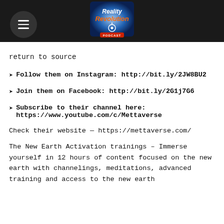Reality Revolution Podcast logo and menu header
return to source
➤ Follow them on Instagram: http://bit.ly/2JW8BU2
➤ Join them on Facebook: http://bit.ly/2G1j7G6
➤ Subscribe to their channel here: https://www.youtube.com/c/Mettaverse
Check their website — https://mettaverse.com/
The New Earth Activation trainings – Immerse yourself in 12 hours of content focused on the new earth with channelings, meditations, advanced training and access to the new earth